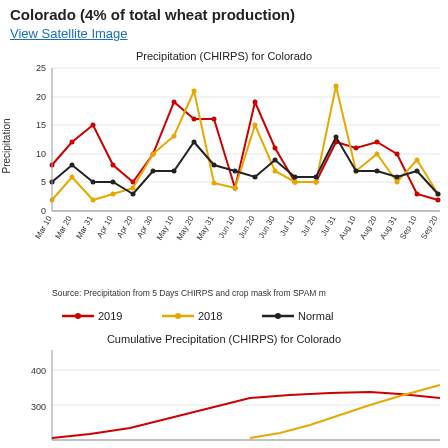Colorado (4% of total wheat production)
View Satellite Image
[Figure (line-chart): Precipitation (CHIRPS) for Colorado]
Source: Precipitation from 5 Days CHIRPS and crop mask from SPAM m
[Figure (line-chart): Cumulative precipitation chart for Colorado showing 2019 (red), 2018 (yellow), and Normal (black) lines. Y-axis shows 300-400 range visible, lines trend upward.]